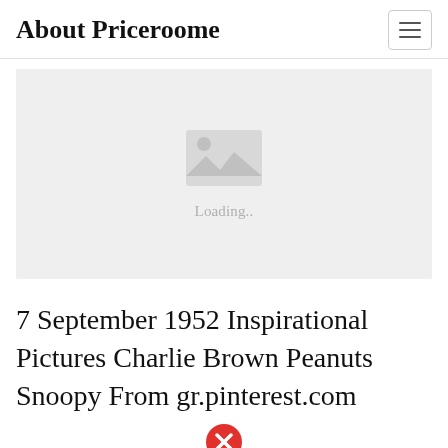About Priceroome
[Figure (photo): Image placeholder with loading indicator showing a grey background with a mountain/image icon and 'Loading..' text below it]
7 September 1952 Inspirational Pictures Charlie Brown Peanuts Snoopy From gr.pinterest.com
[Figure (other): Red circle with white X error icon]